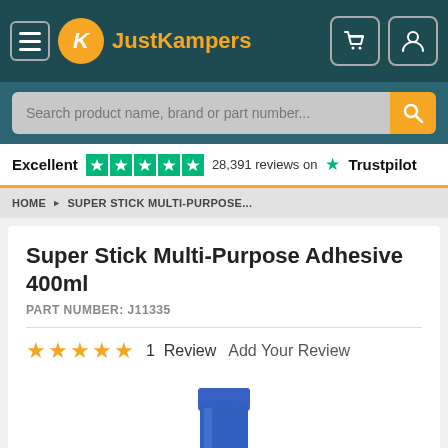JustKampers navigation header with logo, menu, cart, and account icons
Search product name, brand or part number...
Excellent ★★★★★ 28,391 reviews on Trustpilot
HOME > SUPER STICK MULTI-PURPOSE...
Super Stick Multi-Purpose Adhesive 400ml
PART NUMBER: J11335
★★★★★ 1 Review   Add Your Review
[Figure (photo): Blue cylindrical aerosol can of Super Stick Multi-Purpose Adhesive 400ml]